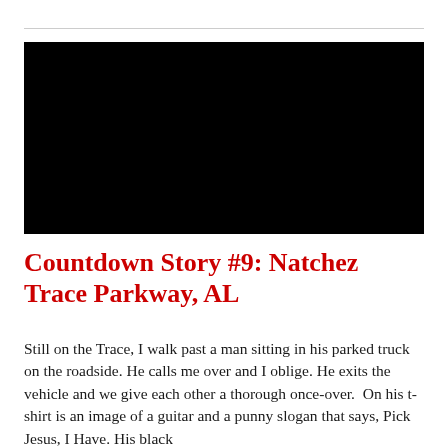[Figure (photo): A black rectangular image, fully dark/black, likely a video thumbnail or redacted photograph]
Countdown Story #9: Natchez Trace Parkway, AL
Still on the Trace, I walk past a man sitting in his parked truck on the roadside. He calls me over and I oblige. He exits the vehicle and we give each other a thorough once-over.  On his t-shirt is an image of a guitar and a punny slogan that says, Pick Jesus, I Have. His black